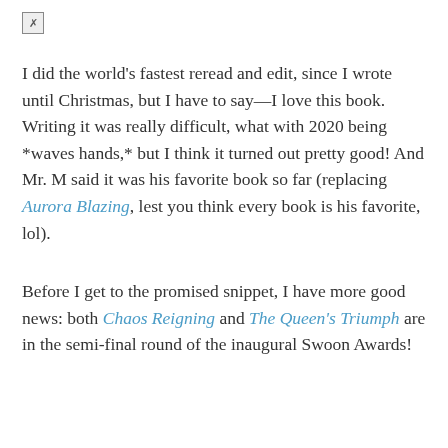[Figure (other): Broken image icon (small box with X) in top-left corner]
I did the world's fastest reread and edit, since I wrote until Christmas, but I have to say—I love this book. Writing it was really difficult, what with 2020 being *waves hands,* but I think it turned out pretty good! And Mr. M said it was his favorite book so far (replacing Aurora Blazing, lest you think every book is his favorite, lol).
Before I get to the promised snippet, I have more good news: both Chaos Reigning and The Queen's Triumph are in the semi-final round of the inaugural Swoon Awards!